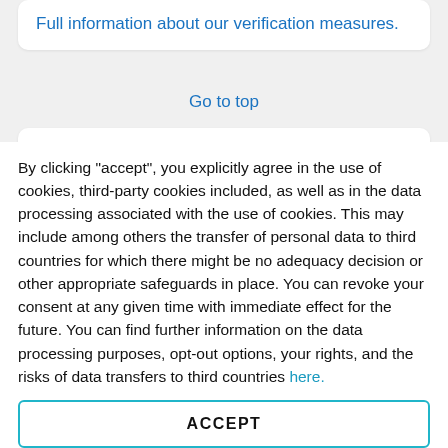Full information about our verification measures.
Go to top
✔ Verified company profile
This is a claimed company profile. CLUSE.com can therefore respond to your reviews.
By clicking "accept", you explicitly agree in the use of cookies, third-party cookies included, as well as in the data processing associated with the use of cookies. This may include among others the transfer of personal data to third countries for which there might be no adequacy decision or other appropriate safeguards in place. You can revoke your consent at any given time with immediate effect for the future. You can find further information on the data processing purposes, opt-out options, your rights, and the risks of data transfers to third countries here.
ACCEPT